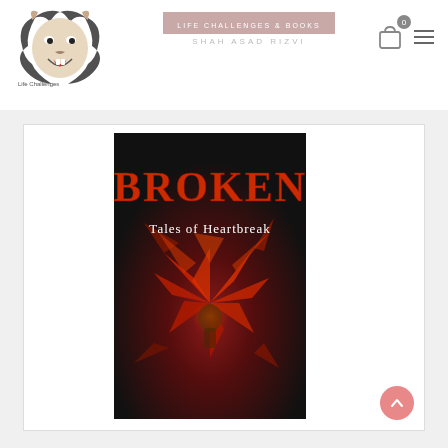[Figure (logo): Shah Asad lion logo with text 'Life Challenges' and 'Shah Asad' below]
SHAH ASAD RIZVI
[Figure (screenshot): Book cover for 'Broken: Tales of Heartbreak' by Shah Asad Rizvi. Dark background with red/orange shattered heart imagery. Title 'BROKEN' in large red letters, subtitle 'Tales of Heartbreak' in white below.]